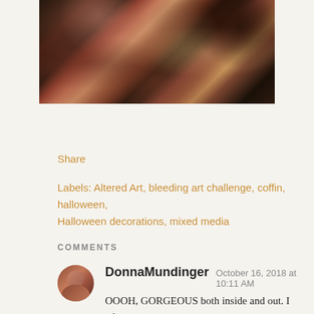[Figure (photo): Close-up photo of a decorated mixed media altered art piece, appears to be a coffin-shaped box covered in dark materials, dried flowers, beads, roses, and various embellishments in dark browns, reds, pinks, and purples.]
Share
Labels: Altered Art, bleeding art challenge, coffin, halloween, Halloween decorations, mixed media
COMMENTS
DonnaMundinger  October 16, 2018 at 10:11 AM
OOOH, GORGEOUS both inside and out. I adore miniatures and you sure have included some